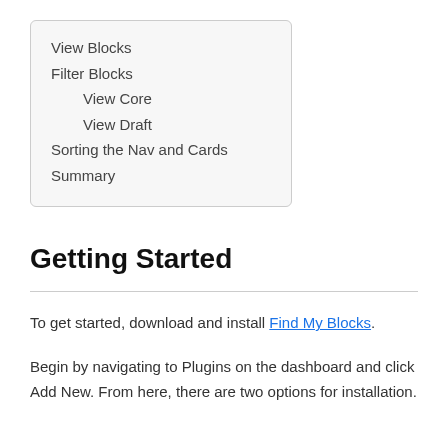View Blocks
Filter Blocks
View Core
View Draft
Sorting the Nav and Cards
Summary
Getting Started
To get started, download and install Find My Blocks.
Begin by navigating to Plugins on the dashboard and click Add New. From here, there are two options for installation.